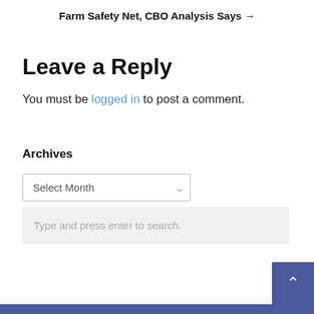Farm Safety Net, CBO Analysis Says →
Leave a Reply
You must be logged in to post a comment.
Archives
Select Month
Type and press enter to search.